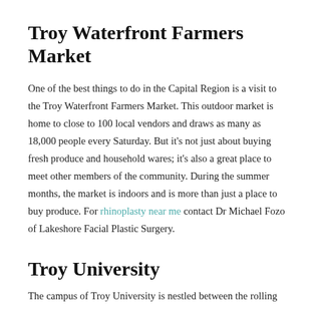Troy Waterfront Farmers Market
One of the best things to do in the Capital Region is a visit to the Troy Waterfront Farmers Market. This outdoor market is home to close to 100 local vendors and draws as many as 18,000 people every Saturday. But it's not just about buying fresh produce and household wares; it's also a great place to meet other members of the community. During the summer months, the market is indoors and is more than just a place to buy produce. For rhinoplasty near me contact Dr Michael Fozo of Lakeshore Facial Plastic Surgery.
Troy University
The campus of Troy University is nestled between the rolling